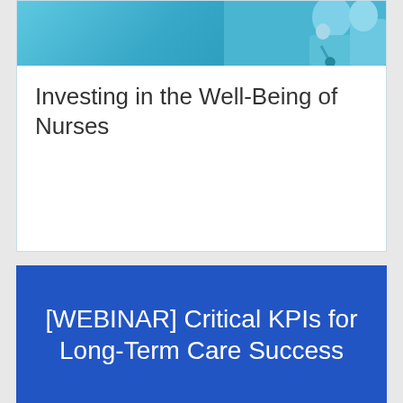[Figure (photo): Photo of a nurse in blue scrubs with a stethoscope, teal/blue background]
Investing in the Well-Being of Nurses
[WEBINAR] Critical KPIs for Long-Term Care Success